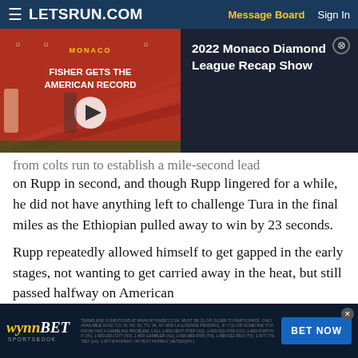≡ LETSRUN.COM   Message Board   Sign In
[Figure (screenshot): Video thumbnail showing track athletes at Monaco Diamond League with text MONACO FISHER GETS THE AMERICAN RECORD and a play button]
2022 Monaco Diamond League Recap Show
from Colts run to establish a mile-second lead on Rupp in second, and though Rupp lingered for a while, he did not have anything left to challenge Tura in the final miles as the Ethiopian pulled away to win by 23 seconds.
Rupp repeatedly allowed himself to get gapped in the early stages, not wanting to get carried away in the heat, but still passed halfway on American
[Figure (screenshot): WynnBET Sportsbook advertisement banner with BET NOW button]